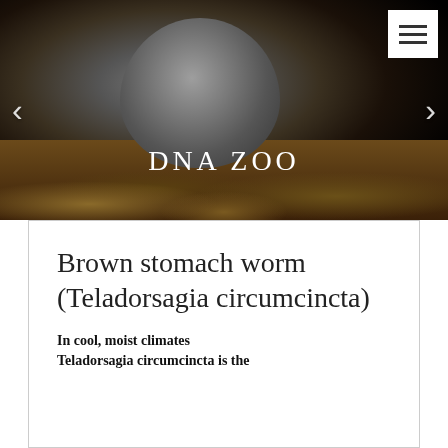[Figure (photo): A small gray mouse/rodent photographed close-up on a bed of dirt, rocks and plant debris against a dark/black background. The text 'DNA ZOO' appears overlaid in large serif letters. Navigation arrows appear on left and right sides. A hamburger menu icon appears in the top right corner.]
Brown stomach worm (Teladorsagia circumcincta)
In cool, moist climates
Teladorsagia circumcincta is the